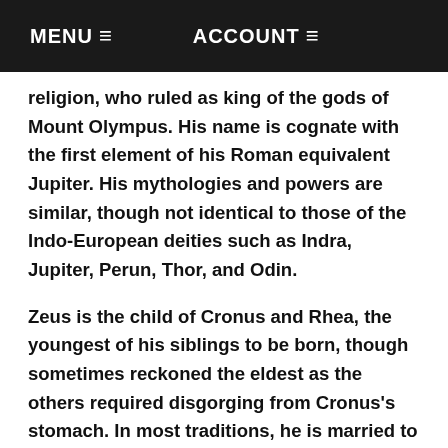MENU ≡   ACCOUNT ≡
religion, who ruled as king of the gods of Mount Olympus. His name is cognate with the first element of his Roman equivalent Jupiter. His mythologies and powers are similar, though not identical to those of the Indo-European deities such as Indra, Jupiter, Perun, Thor, and Odin.
Zeus is the child of Cronus and Rhea, the youngest of his siblings to be born, though sometimes reckoned the eldest as the others required disgorging from Cronus's stomach. In most traditions, he is married to Hera, by whom he is usually said to have fathered Ares, Hebe, and Hephaestus. At the oracle of Dodona, his consort was said to be Dione, by whom the Iliad states that he fathered Aphrodite. Zeus was also infamous for his erotic escapades. These resulted in many godly and heroic